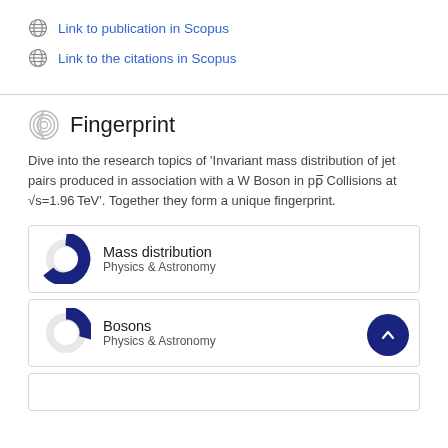Link to publication in Scopus
Link to the citations in Scopus
Fingerprint
Dive into the research topics of 'Invariant mass distribution of jet pairs produced in association with a W Boson in pp̄ Collisions at √s=1.96 TeV'. Together they form a unique fingerprint.
Mass distribution
Physics & Astronomy
Bosons
Physics & Astronomy